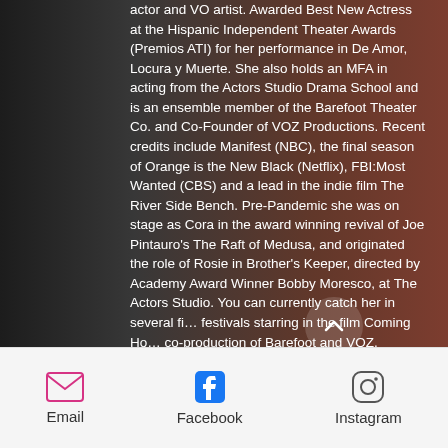[Figure (photo): Dark background photo of a person in red, with overlaid white text biography]
actor and VO artist. Awarded Best New Actress at the Hispanic Independent Theater Awards (Premios ATI) for her performance in De Amor, Locura y Muerte. She also holds an MFA in acting from the Actors Studio Drama School and is an ensemble member of the Barefoot Theater Co. and Co-Founder of VOZ Productions. Recent credits include Manifest (NBC), the final season of Orange is the New Black (Netflix), FBI:Most Wanted (CBS) and a lead in the indie film The River Side Bench. Pre-Pandemic she was on stage as Cora in the award winning revival of Joe Pintauro's The Raft of Medusa, and originated the role of Rosie in Brother's Keeper, directed by Academy Award Winner Bobby Moresco, at The Actors Studio. You can currently catch her in several film festivals starring in the film Coming Home, co-production of Barefoot and VOZ.
Email   Facebook   Instagram